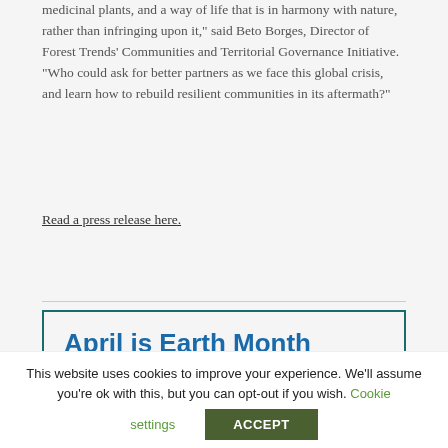medicinal plants, and a way of life that is in harmony with nature, rather than infringing upon it," said Beto Borges, Director of Forest Trends' Communities and Territorial Governance Initiative. "Who could ask for better partners as we face this global crisis, and learn how to rebuild resilient communities in its aftermath?"
Read a press release here.
April is Earth Month
Earth Day is April 22, 2020. Arbor Day is April 24, 2020.
This website uses cookies to improve your experience. We'll assume you're ok with this, but you can opt-out if you wish. Cookie settings ACCEPT